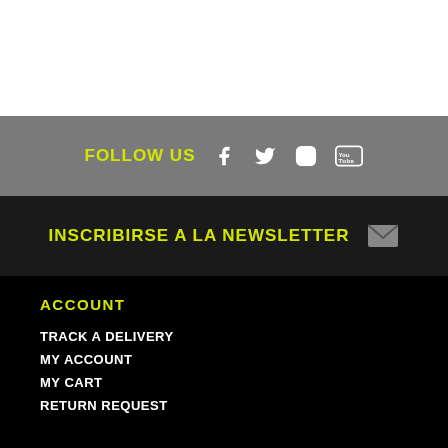[Figure (other): White section at top of page]
FOLLOW US
INSCRIBIRSE A LA NEWSLETTER
ACCOUNT
TRACK A DELIVERY
MY ACCOUNT
MY CART
RETURN REQUEST